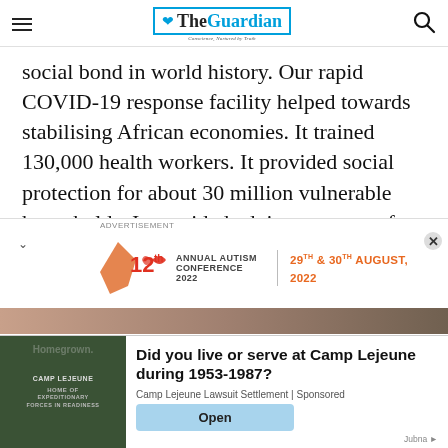The Guardian
social bond in world history. Our rapid COVID-19 response facility helped towards stabilising African economies. It trained 130,000 health workers. It provided social protection for about 30 million vulnerable households. It provided advisory support for 300,000 small and medium-sized businesses."
[Figure (advertisement): 12th Annual Autism Conference 2022 advertisement banner with red ribbon logo, dates 29th & 30th August, 2022]
ADVERTISEMENT
[Figure (advertisement): Camp Lejeune advertisement: Did you live or serve at Camp Lejeune during 1953-1987? Camp Lejeune Lawsuit Settlement. Sponsored by Jubna.]